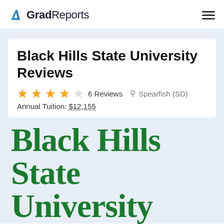GradReports
Black Hills State University Reviews
★★★★☆ 6 Reviews   📍 Spearfish (SD)
Annual Tuition: $12,155
[Figure (logo): Black Hills State University logo — large green serif text reading 'Black Hills State University']